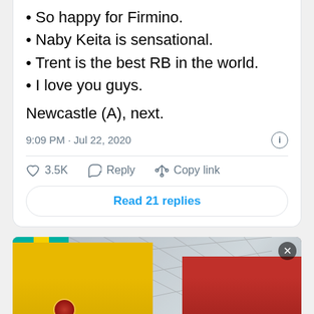So happy for Firmino.
Naby Keita is sensational.
Trent is the best RB in the world.
I love you guys.
Newcastle (A), next.
9:09 PM · Jul 22, 2020
3.5K   Reply   Copy link
Read 21 replies
[Figure (photo): Advertisement image showing two people in sports uniforms (yellow and red) in what appears to be an airport or stadium setting. A woman in a yellow tracksuit and a man in a red uniform and cap are visible. A red banner appears at the bottom.]